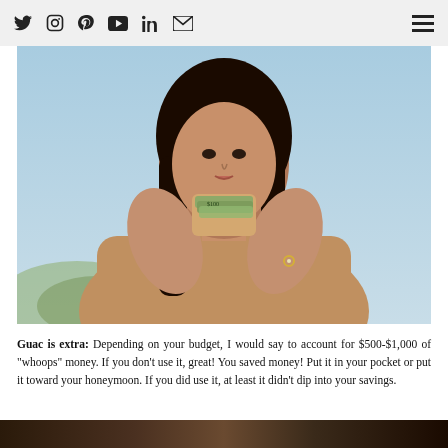Social media icons: Twitter, Instagram, Pinterest, YouTube, LinkedIn, Email; Hamburger menu
[Figure (photo): Woman in beige sleeveless top holding cash/money, photographed against a blue sky background]
Guac is extra: Depending on your budget, I would say to account for $500-$1,000 of “whoops” money. If you don’t use it, great! You saved money! Put it in your pocket or put it toward your honeymoon. If you did use it, at least it didn’t dip into your savings.
[Figure (photo): Partial view of a dark/dimly lit scene at bottom of page, appears to be a wedding or event setting]